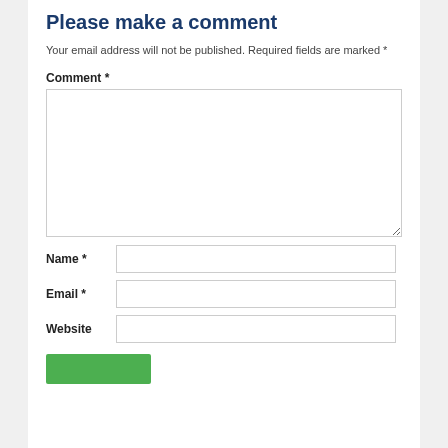Please make a comment
Your email address will not be published. Required fields are marked *
Comment *
Name *
Email *
Website